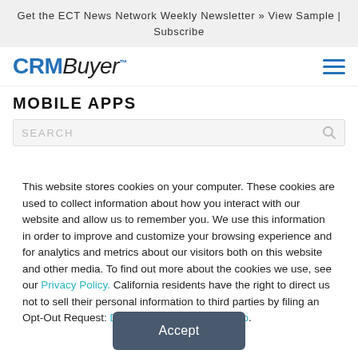Get the ECT News Network Weekly Newsletter » View Sample | Subscribe
[Figure (logo): CRMBuyer logo with hamburger menu icon]
MOBILE APPS
SEARCH
This website stores cookies on your computer. These cookies are used to collect information about how you interact with our website and allow us to remember you. We use this information in order to improve and customize your browsing experience and for analytics and metrics about our visitors both on this website and other media. To find out more about the cookies we use, see our Privacy Policy. California residents have the right to direct us not to sell their personal information to third parties by filing an Opt-Out Request: Do Not Sell My Personal Info.
Accept